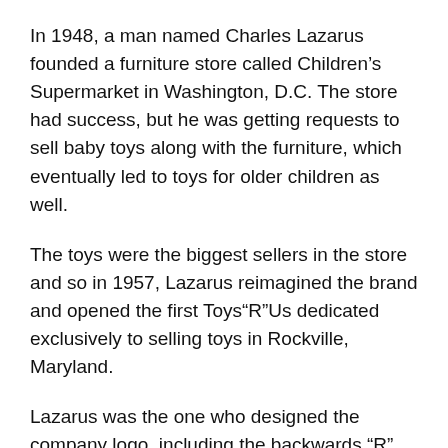In 1948, a man named Charles Lazarus founded a furniture store called Children's Supermarket in Washington, D.C. The store had success, but he was getting requests to sell baby toys along with the furniture, which eventually led to toys for older children as well.
The toys were the biggest sellers in the store and so in 1957, Lazarus reimagined the brand and opened the first Toys"R"Us dedicated exclusively to selling toys in Rockville, Maryland.
Lazarus was the one who designed the company logo, including the backwards “R” which indicated a child’s handwriting.